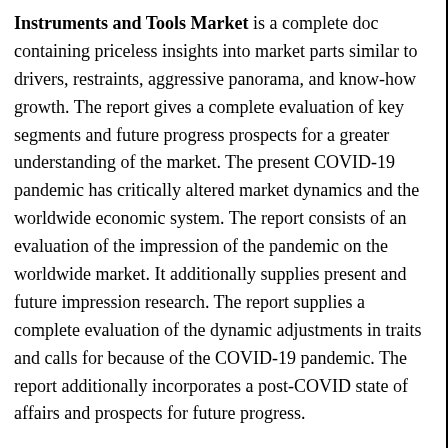Instruments and Tools Market is a complete doc containing priceless insights into market parts similar to drivers, restraints, aggressive panorama, and know-how growth. The report gives a complete evaluation of key segments and future progress prospects for a greater understanding of the market. The present COVID-19 pandemic has critically altered market dynamics and the worldwide economic system. The report consists of an evaluation of the impression of the pandemic on the worldwide market. It additionally supplies present and future impression research. The report supplies a complete evaluation of the dynamic adjustments in traits and calls for because of the COVID-19 pandemic. The report additionally incorporates a post-COVID state of affairs and prospects for future progress.
Aggressive evaluation consists of key gamers and the improvements and enterprise methods they've carried out. The report captures one of the best long-term progress alternatives for the business and consists of the newest course of and